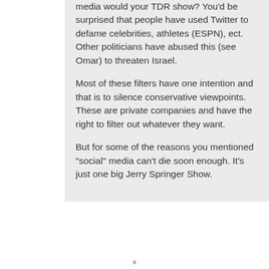media would your TDR show? You'd be surprised that people have used Twitter to defame celebrities, athletes (ESPN), ect. Other politicians have abused this (see Omar) to threaten Israel.
Most of these filters have one intention and that is to silence conservative viewpoints. These are private companies and have the right to filter out whatever they want.
But for some of the reasons you mentioned "social" media can't die soon enough. It's just one big Jerry Springer Show.
x